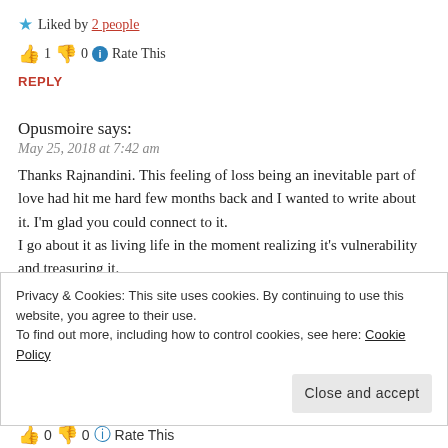★ Liked by 2 people
👍 1 👎 0 ℹ Rate This
REPLY
Opusmoire says:
May 25, 2018 at 7:42 am
Thanks Rajnandini. This feeling of loss being an inevitable part of love had hit me hard few months back and I wanted to write about it. I'm glad you could connect to it.
I go about it as living life in the moment realizing it's vulnerability and treasuring it.
Privacy & Cookies: This site uses cookies. By continuing to use this website, you agree to their use.
To find out more, including how to control cookies, see here: Cookie Policy
Close and accept
👍 0 🏳 0 💙 Rate This